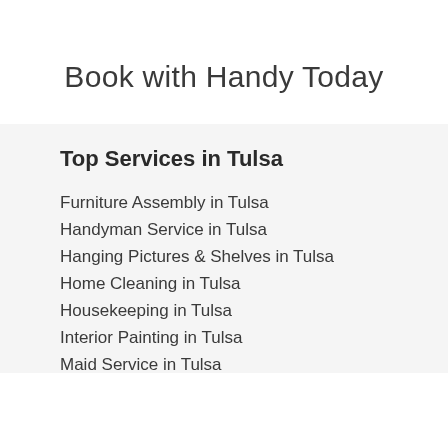Book with Handy Today
Top Services in Tulsa
Furniture Assembly in Tulsa
Handyman Service in Tulsa
Hanging Pictures & Shelves in Tulsa
Home Cleaning in Tulsa
Housekeeping in Tulsa
Interior Painting in Tulsa
Maid Service in Tulsa